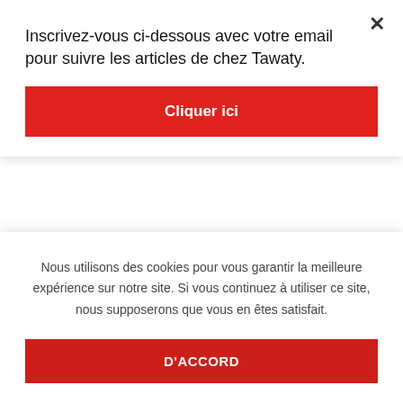Inscrivez-vous ci-dessous avec votre email pour suivre les articles de chez Tawaty.
[Figure (other): Red 'Cliquer ici' button]
1 hour payday loans no credit check
12 month installment loans
24 7 payday loans
24 pay day loan
30 day payday loans online
Nous utilisons des cookies pour vous garantir la meilleure expérience sur notre site. Si vous continuez à utiliser ce site, nous supposerons que vous en êtes satisfait.
[Figure (other): Red 'D'ACCORD' button]